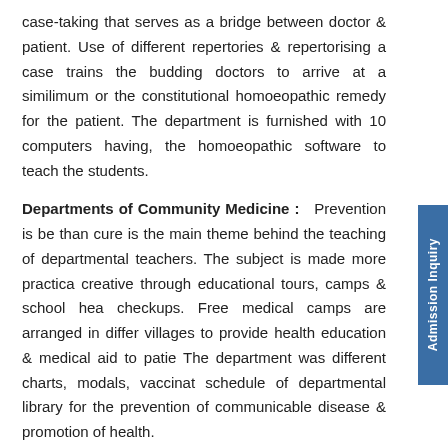case-taking that serves as a bridge between doctor & patient. Use of different repertories & repertorising a case trains the budding doctors to arrive at a similimum or the constitutional homoeopathic remedy for the patient. The department is furnished with 10 computers having, the homoeopathic software to teach the students.
Departments of Community Medicine : Prevention is better than cure is the main theme behind the teaching of departmental teachers. The subject is made more practical & creative through educational tours, camps & school health checkups. Free medical camps are arranged in different villages to provide health education & medical aid to patients. The department was different charts, modals, vaccination schedule of departmental library for the prevention of communicable disease & promotion of health.
Departments of Pathology : It is also sufficiently equipped to